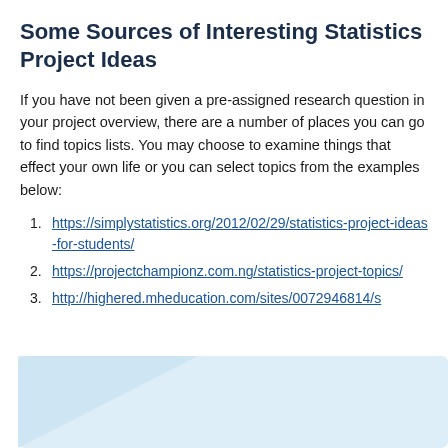Some Sources of Interesting Statistics Project Ideas
If you have not been given a pre-assigned research question in your project overview, there are a number of places you can go to find topics lists. You may choose to examine things that effect your own life or you can select topics from the examples below:
https://simplystatistics.org/2012/02/29/statistics-project-ideas-for-students/
https://projectchampionz.com.ng/statistics-project-topics/
http://highered.mheducation.com/sites/0072946814/s…
[Figure (illustration): Light blue decorative background box at the bottom of the page]